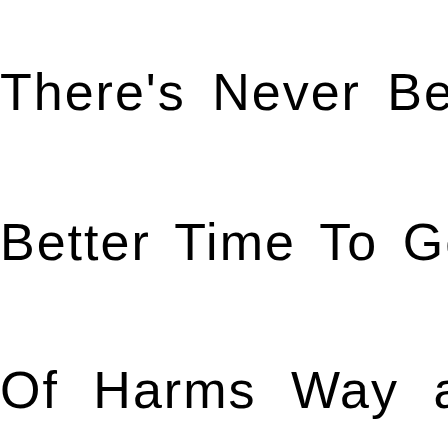There's Never Been A
Better Time To Get Out
Of  Harms  Way  and